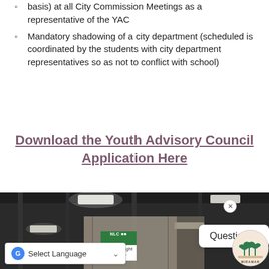basis) at all City Commission Meetings as a representative of the YAC
Mandatory shadowing of a city department (scheduled is coordinated by the students with city department representatives so as not to conflict with school)
Download the Youth Advisory Council Application Here
[Figure (photo): Interior of a large convention center or exhibition hall with overhead lighting, structural beams. A sign reads 'NLC City Spotlight Theater'. Overlay shows a 'Select Language' Google Translate widget, a 'Questions?' chat bubble, a close button, and the City of Miramar logo.]